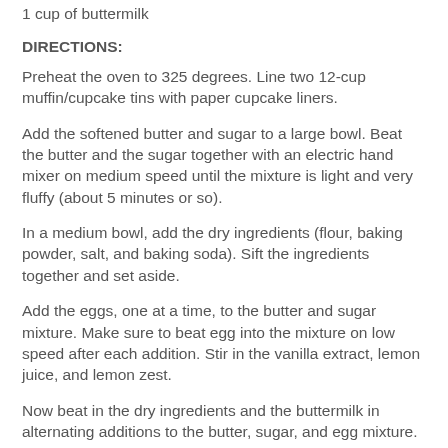1 cup of buttermilk
DIRECTIONS:
Preheat the oven to 325 degrees. Line two 12-cup muffin/cupcake tins with paper cupcake liners.
Add the softened butter and sugar to a large bowl. Beat the butter and the sugar together with an electric hand mixer on medium speed until the mixture is light and very fluffy (about 5 minutes or so).
In a medium bowl, add the dry ingredients (flour, baking powder, salt, and baking soda). Sift the ingredients together and set aside.
Add the eggs, one at a time, to the butter and sugar mixture. Make sure to beat egg into the mixture on low speed after each addition. Stir in the vanilla extract, lemon juice, and lemon zest.
Now beat in the dry ingredients and the buttermilk in alternating additions to the butter, sugar, and egg mixture.